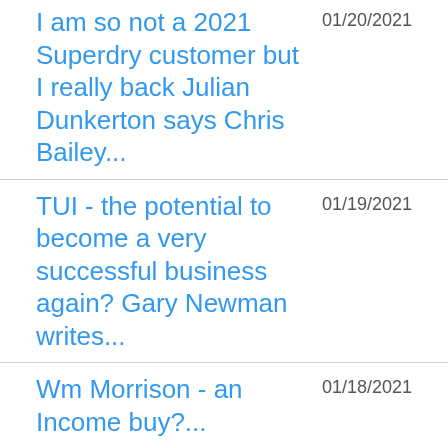I am so not a 2021 Superdry customer but I really back Julian Dunkerton says Chris Bailey... — 01/20/2021
TUI - the potential to become a very successful business again? Gary Newman writes... — 01/19/2021
Wm Morrison - an Income buy?... — 01/18/2021